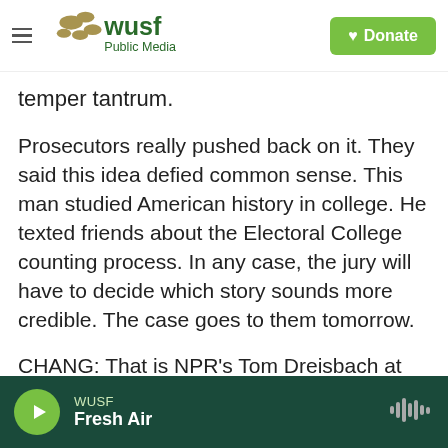WUSF Public Media | Donate
temper tantrum.
Prosecutors really pushed back on it. They said this idea defied common sense. This man studied American history in college. He texted friends about the Electoral College counting process. In any case, the jury will have to decide which story sounds more credible. The case goes to them tomorrow.
CHANG: That is NPR's Tom Dreisbach at the federal district courthouse in Washington, D.C. Thank you, Tom.
WUSF Fresh Air